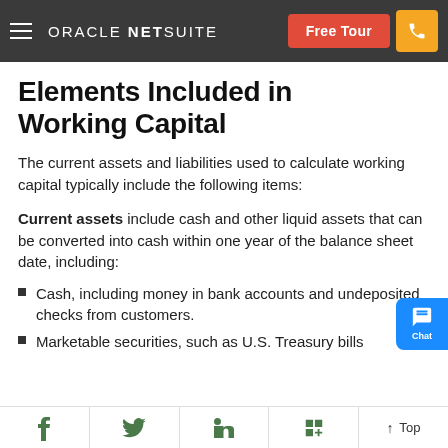ORACLE NETSUITE | Free Tour
Elements Included in Working Capital
The current assets and liabilities used to calculate working capital typically include the following items:
Current assets include cash and other liquid assets that can be converted into cash within one year of the balance sheet date, including:
Cash, including money in bank accounts and undeposited checks from customers.
Marketable securities, such as U.S. Treasury bills
f  Twitter  in  Flipboard  ↑ Top